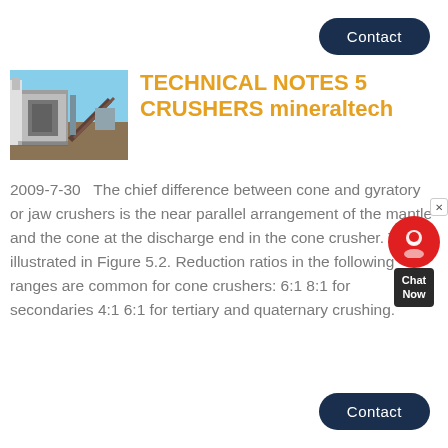Contact
[Figure (photo): Photograph of an industrial crusher/mineral processing facility with conveyors and large machinery against a blue sky.]
TECHNICAL NOTES 5 CRUSHERS mineraltech
2009-7-30  The chief difference between cone and gyratory or jaw crushers is the near parallel arrangement of the mantle and the cone at the discharge end in the cone crusher. This is illustrated in Figure 5.2. Reduction ratios in the following ranges are common for cone crushers: 6:1 8:1 for secondaries 4:1 6:1 for tertiary and quaternary crushing.
Contact